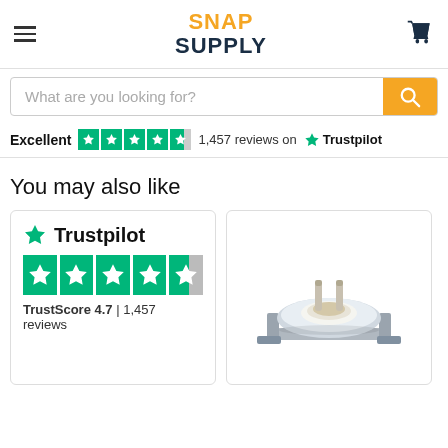[Figure (logo): Snap Supply logo with hamburger menu and cart icon in header]
What are you looking for?
Excellent  ★★★★½  1,457 reviews on ★ Trustpilot
You may also like
[Figure (screenshot): Trustpilot widget showing TrustScore 4.7 with 4.5 green stars and 1,457 reviews]
[Figure (photo): Thermostat/thermal cutoff appliance part component photo]